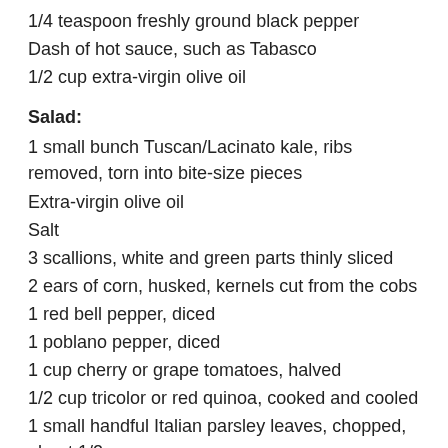1/4 teaspoon freshly ground black pepper
Dash of hot sauce, such as Tabasco
1/2 cup extra-virgin olive oil
Salad:
1 small bunch Tuscan/Lacinato kale, ribs removed, torn into bite-size pieces
Extra-virgin olive oil
Salt
3 scallions, white and green parts thinly sliced
2 ears of corn, husked, kernels cut from the cobs
1 red bell pepper, diced
1 poblano pepper, diced
1 cup cherry or grape tomatoes, halved
1/2 cup tricolor or red quinoa, cooked and cooled
1 small handful Italian parsley leaves, chopped, about 1/2 cup
1 small handful cilantro leaves, chopped, about 1/2 cup